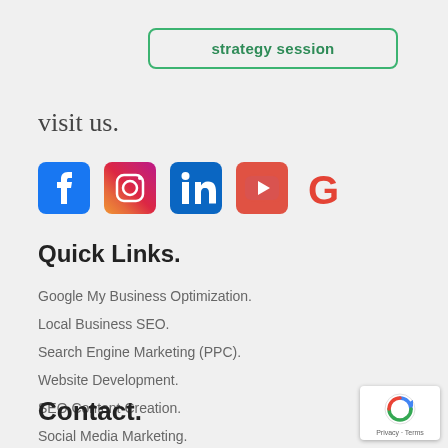strategy session
visit us.
[Figure (illustration): Social media icons: Facebook, Instagram, LinkedIn, YouTube, Google]
Quick Links.
Google My Business Optimization.
Local Business SEO.
Search Engine Marketing (PPC).
Website Development.
SEO Content Creation.
Social Media Marketing.
Listings Sync & Distribution.
Contact.
[Figure (logo): reCAPTCHA badge with Privacy and Terms text]